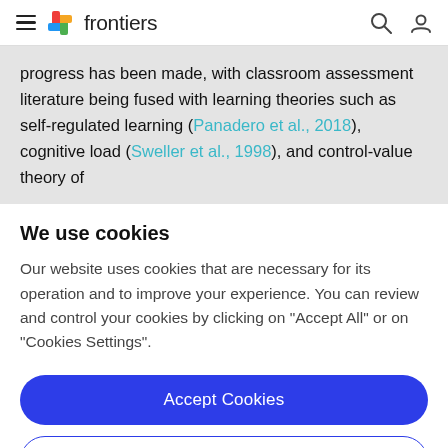frontiers
progress has been made, with classroom assessment literature being fused with learning theories such as self-regulated learning (Panadero et al., 2018), cognitive load (Sweller et al., 1998), and control-value theory of
We use cookies
Our website uses cookies that are necessary for its operation and to improve your experience. You can review and control your cookies by clicking on "Accept All" or on "Cookies Settings".
Accept Cookies
Cookies Settings